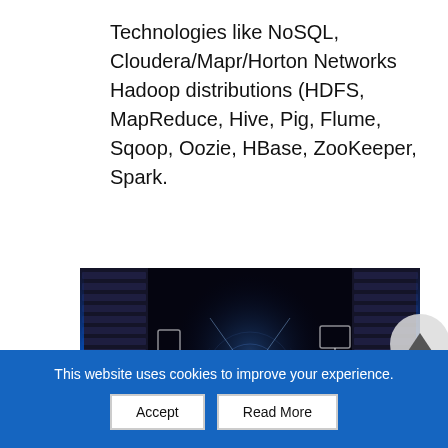Technologies like NoSQL, Cloudera/Mapr/Horton Networks Hadoop distributions (HDFS, MapReduce, Hive, Pig, Flume, Sqoop, Oozie, HBase, ZooKeeper, Spark.
[Figure (photo): Data center server racks with blue lighting and a cloud computing icon overlay with connecting lines to device icons, dark corridor perspective view]
This website uses cookies to improve your experience.
Accept
Read More